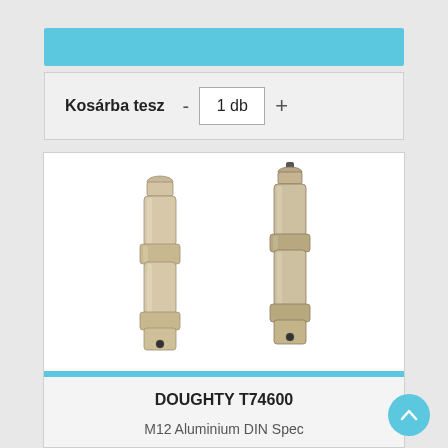Kosárba tesz  -  1 db  +
[Figure (photo): Two metallic aluminium spigot pins (DOUGHTY T74600) shown side by side — one facing slightly left, one facing slightly right. Both are cylindrical metal pins with grooved sections and a small hole near the base.]
DOUGHTY T74600
M12 Aluminium DIN Spec